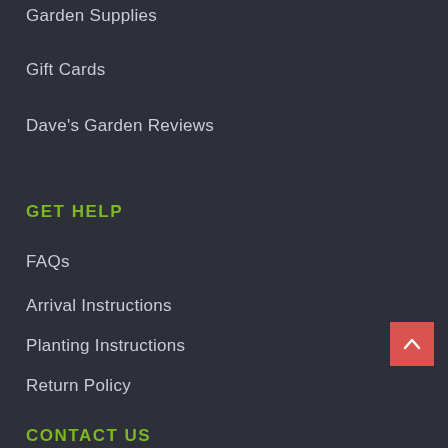Garden Supplies
Gift Cards
Dave's Garden Reviews
GET HELP
FAQs
Arrival Instructions
Planting Instructions
Return Policy
Privacy Policy
Shipping Details
CONTACT US